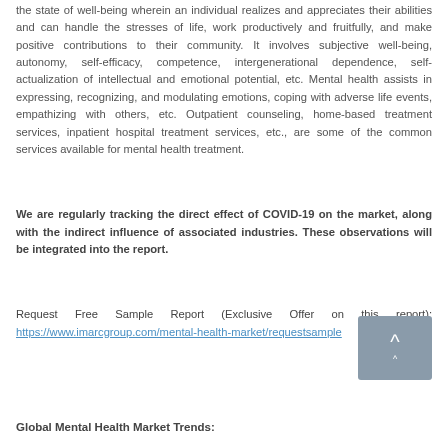the state of well-being wherein an individual realizes and appreciates their abilities and can handle the stresses of life, work productively and fruitfully, and make positive contributions to their community. It involves subjective well-being, autonomy, self-efficacy, competence, intergenerational dependence, self-actualization of intellectual and emotional potential, etc. Mental health assists in expressing, recognizing, and modulating emotions, coping with adverse life events, empathizing with others, etc. Outpatient counseling, home-based treatment services, inpatient hospital treatment services, etc., are some of the common services available for mental health treatment.
We are regularly tracking the direct effect of COVID-19 on the market, along with the indirect influence of associated industries. These observations will be integrated into the report.
Request Free Sample Report (Exclusive Offer on this report): https://www.imarcgroup.com/mental-health-market/requestsample
Global Mental Health Market Trends: